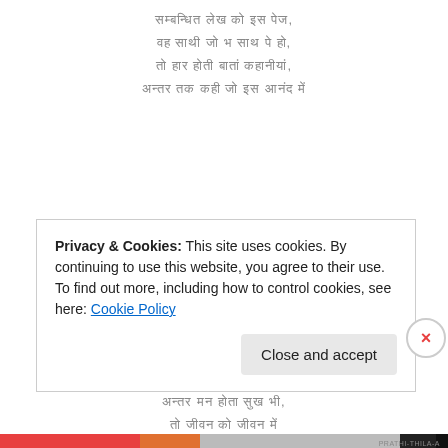[Hindi/Devanagari poem stanza 1, lines 1-4]
[Hindi/Devanagari poem stanza 2, lines 5-8]
[Hindi/Devanagari poem stanza 3, lines 9-10 partial]
Privacy & Cookies: This site uses cookies. By continuing to use this website, you agree to their use.
To find out more, including how to control cookies, see here: Cookie Policy
PRATHI-THILA-A